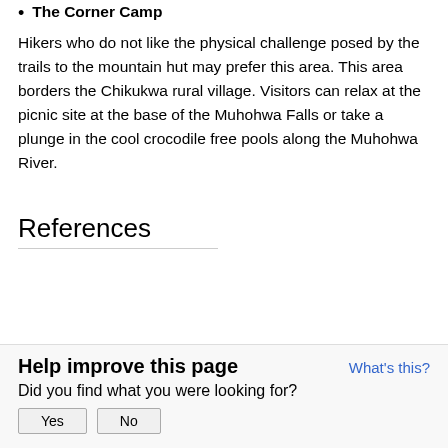The Corner Camp
Hikers who do not like the physical challenge posed by the trails to the mountain hut may prefer this area. This area borders the Chikukwa rural village. Visitors can relax at the picnic site at the base of the Muhohwa Falls or take a plunge in the cool crocodile free pools along the Muhohwa River.
References
Help improve this page
What's this?
Did you find what you were looking for?
Yes
No